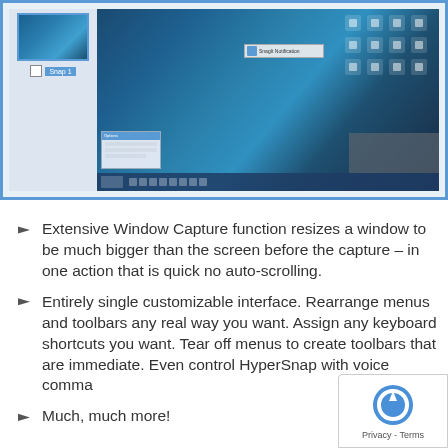[Figure (screenshot): Screenshot showing a Windows desktop captured in a screen capture application. Left panel shows a thumbnail with a checkbox and label 'Snap 1'. Main area shows a blue abstract desktop background with desktop icons in top right, a notification popup, a small dialog window, and a taskbar at the bottom.]
Extensive Window Capture function resizes a window to be much bigger than the screen before the capture – in one action that is quick no auto-scrolling.
Entirely single customizable interface. Rearrange menus and toolbars any real way you want. Assign any keyboard shortcuts you want. Tear off menus to create toolbars that are immediate. Even control HyperSnap with voice comma...
Much, much more!